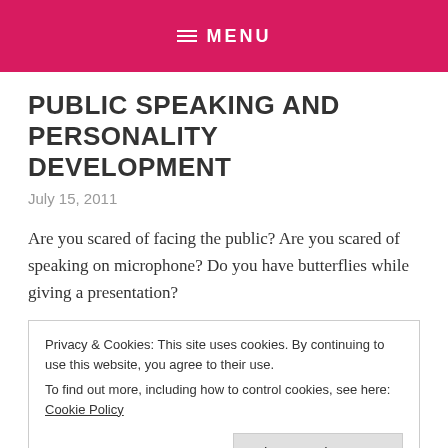MENU
PUBLIC SPEAKING AND PERSONALITY DEVELOPMENT
July 15, 2011
Are you scared of facing the public? Are you scared of speaking on microphone? Do you have butterflies while giving a presentation?
Privacy & Cookies: This site uses cookies. By continuing to use this website, you agree to their use.
To find out more, including how to control cookies, see here: Cookie Policy
before audience, some do not feel comfortable in